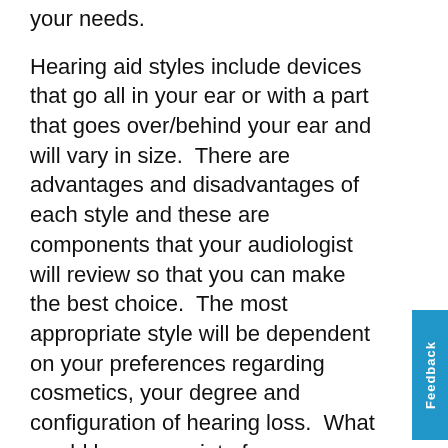technology would be the most appropriate for your needs.
Hearing aid styles include devices that go all in your ear or with a part that goes over/behind your ear and will vary in size. There are advantages and disadvantages of each style and these are components that your audiologist will review so that you can make the best choice. The most appropriate style will be dependent on your preferences regarding cosmetics, your degree and configuration of hearing loss. What would be appropriate for one person may not be appropriate for another. Other biological factors such as ear canal size/shape,